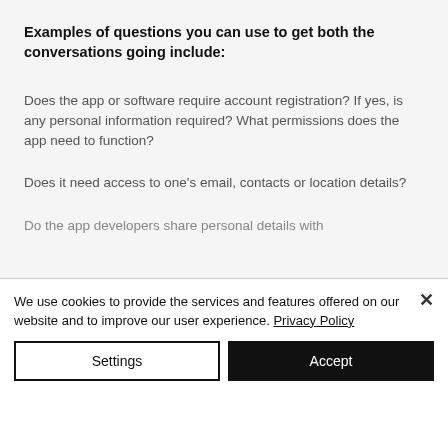Examples of questions you can use to get both the conversations going include:
Does the app or software require account registration? If yes, is any personal information required? What permissions does the app need to function?
Does it need access to one's email, contacts or location details?
Do the app developers share personal details with
We use cookies to provide the services and features offered on our website and to improve our user experience. Privacy Policy
Settings
Accept